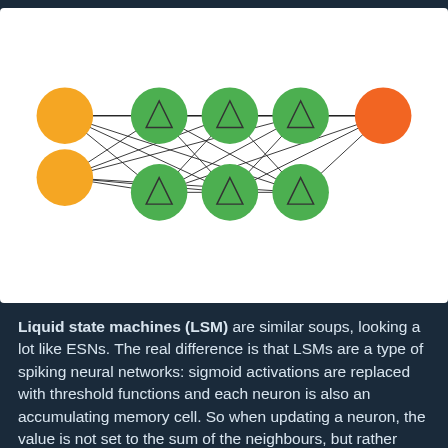[Figure (network-graph): Neural network diagram showing yellow input nodes on the left connected to green reservoir nodes (with triangle symbols) in the middle, with one orange output node on the right. Connections shown as black lines between nodes.]
Liquid state machines (LSM) are similar soups, looking a lot like ESNs. The real difference is that LSMs are a type of spiking neural networks: sigmoid activations are replaced with threshold functions and each neuron is also an accumulating memory cell. So when updating a neuron, the value is not set to the sum of the neighbours, but rather added to itself. Once the threshold is reached, it releases its' energy to other neurons. This creates a spiking like pattern, where nothing happens for a while until a threshold is suddenly reached.